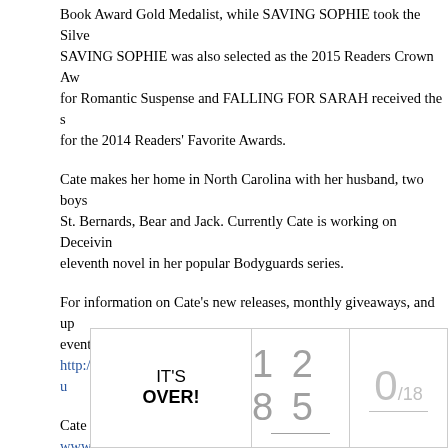Book Award Gold Medalist, while SAVING SOPHIE took the Silver. SAVING SOPHIE was also selected as the 2015 Readers Crown Award for Romantic Suspense and FALLING FOR SARAH received the silver for the 2014 Readers' Favorite Awards.
Cate makes her home in North Carolina with her husband, two boys, and St. Bernards, Bear and Jack. Currently Cate is working on Deceiving, the eleventh novel in her popular Bodyguards series.
For information on Cate's new releases, monthly giveaways, and upcoming events, sign up for her newsletter at: http://www.catebeauman.com/author/home.html#!newsletter-sign-u
Cate can be reached at www.catebeauman.com and www.facebook.com/catebeauman.
You can follow Cate on Twitter @CateBeauman  Instagram  Bookb... Goodreads
| IT'S OVER! | 1 2 8 5 | 0/18 |
| --- | --- | --- |